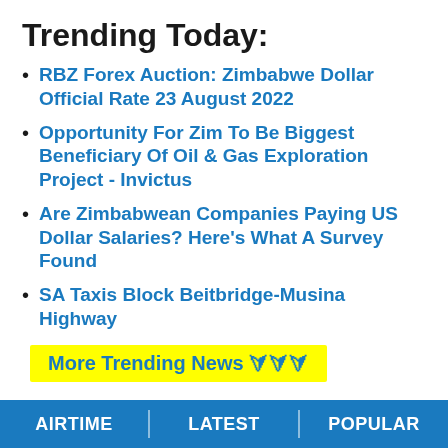Trending Today:
RBZ Forex Auction: Zimbabwe Dollar Official Rate 23 August 2022
Opportunity For Zim To Be Biggest Beneficiary Of Oil & Gas Exploration Project - Invictus
Are Zimbabwean Companies Paying US Dollar Salaries? Here's What A Survey Found
SA Taxis Block Beitbridge-Musina Highway
More Trending News >>>
Join WhatsApp & Telegram News Groups:
WhatsApp Group:
https://chat.whatsapp.com/D3p2N7OV4gTKVkg5QwUdvY
AIRTIME | LATEST | POPULAR